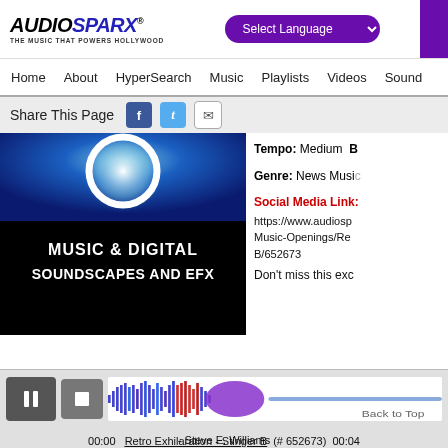AUDIOSPARX - THE MUSIC THAT POWERS HOLLYWOOD | Select Language | Search
Home | About | HyperSearch | Music | Playlists | Videos | Sound
Share This Page
[Figure (screenshot): Album art thumbnail showing blue radial light effect at top and black background with white text reading MUSIC & DIGITAL SOUNDSCAPES AND EFX]
Tempo: Medium B
Genre: News Music
Social Media Link:
https://www.audiosp... Music-Openings/Re... B/652673
Don't miss this exc...
00:00  Retro Exhilaration - Stinger B  (# 652673)  00:04  - Steve E. Williams